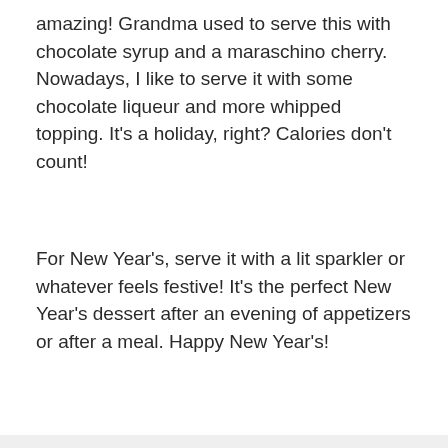amazing! Grandma used to serve this with chocolate syrup and a maraschino cherry. Nowadays, I like to serve it with some chocolate liqueur and more whipped topping. It's a holiday, right? Calories don't count!
For New Year's, serve it with a lit sparkler or whatever feels festive! It's the perfect New Year's dessert after an evening of appetizers or after a meal. Happy New Year's!
[Figure (photo): Blurry photo of a dessert dish with green topping, served in a rectangular dish, on a light grey background.]